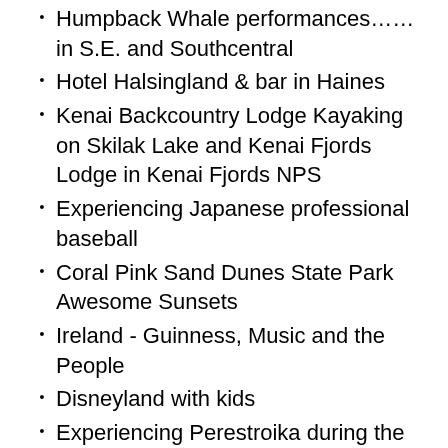Humpback Whale performances……in S.E. and Southcentral
Hotel Halsingland & bar in Haines
Kenai Backcountry Lodge Kayaking on Skilak Lake and Kenai Fjords Lodge in Kenai Fjords NPS
Experiencing Japanese professional baseball
Coral Pink Sand Dunes State Park Awesome Sunsets
Ireland - Guinness, Music and the People
Disneyland with kids
Experiencing Perestroika during the “opening up of the Soviet Union”
Get inspired.